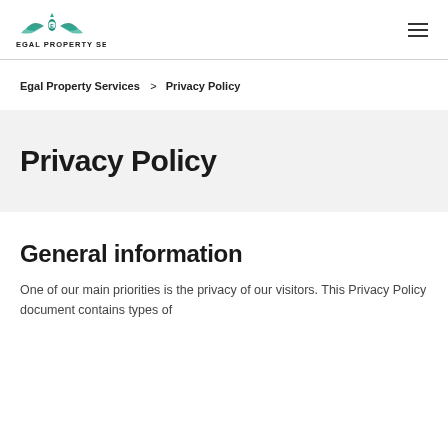[Figure (logo): Egal Property Services logo with teal eagle/wings icon above the text EGAL PROPERTY SERVICES]
Egal Property Services > Privacy Policy
Privacy Policy
General information
One of our main priorities is the privacy of our visitors. This Privacy Policy document contains types of